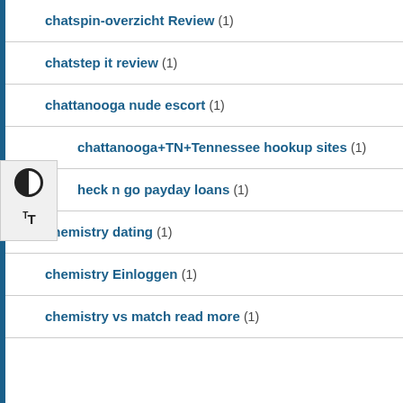chatspin-overzicht Review (1)
chatstep it review (1)
chattanooga nude escort (1)
chattanooga+TN+Tennessee hookup sites (1)
heck n go payday loans (1)
chemistry dating (1)
chemistry Einloggen (1)
chemistry vs match read more (1)